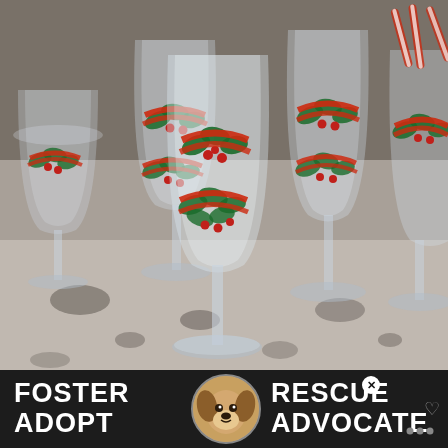[Figure (photo): Photograph of multiple clear glass wine goblets decorated with Christmas holly, red berries, and red ribbon/bow designs, arranged on a granite countertop. In the background, candy canes and bottles are visible.]
[Figure (infographic): Dark banner advertisement at the bottom of the image with white bold text reading FOSTER ADOPT on the left and RESCUE ADVOCATE on the right, with a circular photo of a beagle dog in the center. There is a small close (X) button and a heart/bookmark icon on the right side.]